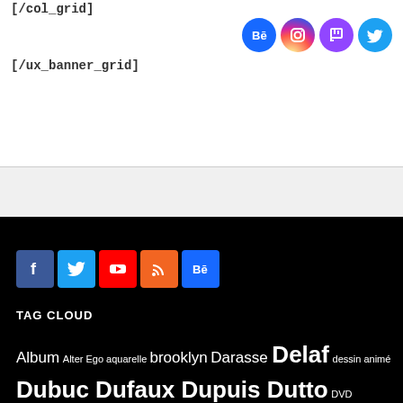[/col_grid]
[/ux_banner_grid]
[Figure (illustration): Four circular social media icons: Behance (blue), Instagram (pink/red gradient), Twitch (purple), Twitter (blue)]
[Figure (illustration): Five square social media buttons: Facebook (dark blue), Twitter (light blue), YouTube (red), RSS (orange), Behance (blue)]
TAG CLOUD
Album Alter Ego aquarelle brooklyn Darasse Delaf dessin animé Dubuc Dufaux Dupuis Dutto DVD Démonstration